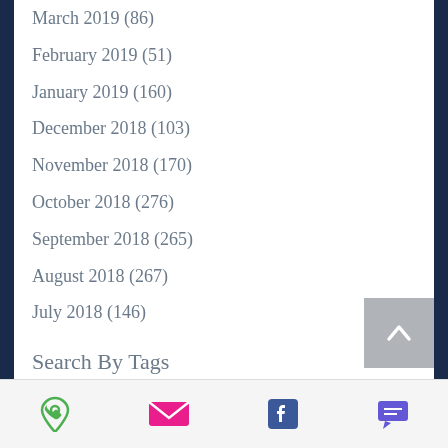March 2019 (86)
February 2019 (51)
January 2019 (160)
December 2018 (103)
November 2018 (170)
October 2018 (276)
September 2018 (265)
August 2018 (267)
July 2018 (146)
Search By Tags
A10   baseball   basketball   basketball recruits
Black College Football   Brockport
college football   College Sports   Division 1
Division 2   Division 3   Divving   EAST COAST